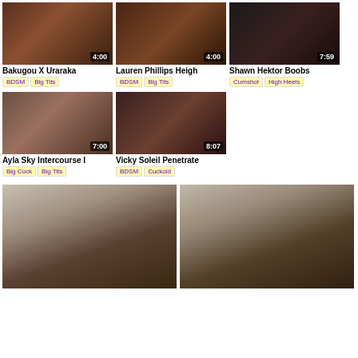[Figure (screenshot): Video thumbnail with duration 4:00]
Bakugou X Uraraka
BDSM  Big Tits
[Figure (screenshot): Video thumbnail with duration 4:00]
Lauren Phillips Heigh
BDSM  Big Tits
[Figure (screenshot): Video thumbnail with duration 7:59]
Shawn Hektor Boobs
Cumshot  High Heels
[Figure (screenshot): Video thumbnail with duration 7:00]
Ayla Sky Intercourse I
Big Cock  Big Tits
[Figure (screenshot): Video thumbnail with duration 8:07]
Vicky Soleil Penetrate
BDSM  Cuckold
[Figure (photo): Large photo of young woman outdoors in winter]
[Figure (photo): Large photo of young woman outdoors in winter]